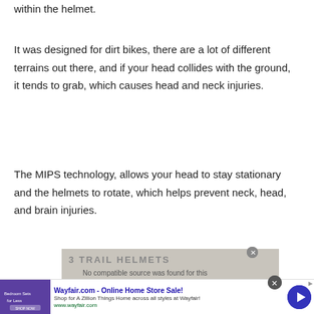within the helmet.
It was designed for dirt bikes, there are a lot of different terrains out there, and if your head collides with the ground, it tends to grab, which causes head and neck injuries.
The MIPS technology, allows your head to stay stationary and the helmets to rotate, which helps prevent neck, head, and brain injuries.
[Figure (screenshot): Video placeholder showing text '3 TRAIL HELMETS' with message 'No compatible source was found for this']
[Figure (screenshot): Wayfair.com advertisement banner: 'Wayfair.com - Online Home Store Sale! Shop for A Zillion Things Home across all styles at Wayfair! www.wayfair.com']